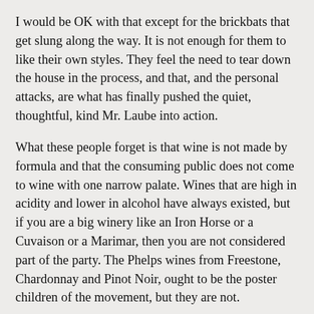I would be OK with that except for the brickbats that get slung along the way. It is not enough for them to like their own styles. They feel the need to tear down the house in the process, and that, and the personal attacks, are what has finally pushed the quiet, thoughtful, kind Mr. Laube into action.
What these people forget is that wine is not made by formula and that the consuming public does not come to wine with one narrow palate. Wines that are high in acidity and lower in alcohol have always existed, but if you are a big winery like an Iron Horse or a Cuvaison or a Marimar, then you are not considered part of the party. The Phelps wines from Freestone, Chardonnay and Pinot Noir, ought to be the poster children of the movement, but they are not.
IPOB is criticizable for all kinds of things, but perhaps their greatest sin is in damning, as Mr. Bonne has done publicly, wine that have any kind of wide distribution as if somehow the wineries mentioned above cannot be considered simply for their size rather than for the wines they make.